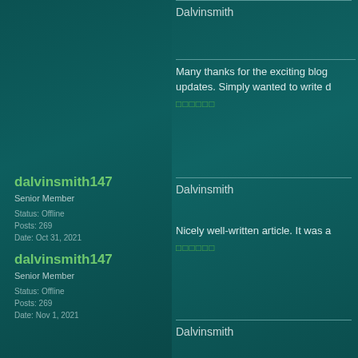Dalvinsmith
dalvinsmith147
Senior Member
Status: Offline
Posts: 269
Date: Oct 31, 2021
Many thanks for the exciting blog updates. Simply wanted to write d
□□□□□□
Dalvinsmith
dalvinsmith147
Senior Member
Status: Offline
Posts: 269
Date: Nov 1, 2021
Nicely well-written article. It was a
□□□□□□
Dalvinsmith